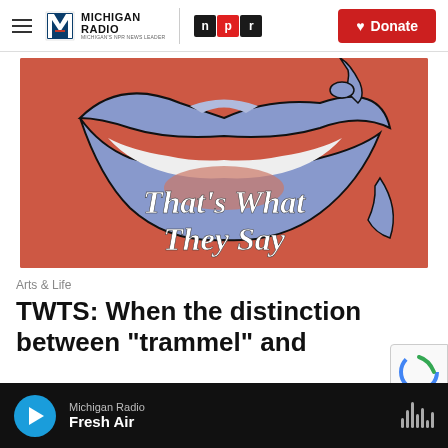Michigan Radio NPR | Donate
[Figure (illustration): Illustration of a smiling mouth with blue lips on a coral/red background with white cursive text reading 'That's What They Say']
Arts & Life
TWTS: When the distinction between "trammel" and
Michigan Radio | Fresh Air (audio player bar)